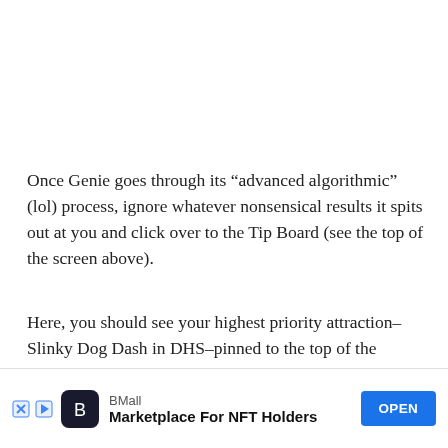Once Genie goes through its “advanced algorithmic” (lol) process, ignore whatever nonsensical results it spits out at you and click over to the Tip Board (see the top of the screen above).
Here, you should see your highest priority attraction–Slinky Dog Dash in DHS–pinned to the top of the screen. This might seem like a minor thing, but it’s huge. Normally, attractions are listed in alphabetical order; since Slinky Dog Dash starts with the letter “s”, it’s near the bottom as anyone e of
[Figure (screenshot): Advertisement bar at bottom: BMall - Marketplace For NFT Holders with OPEN button]